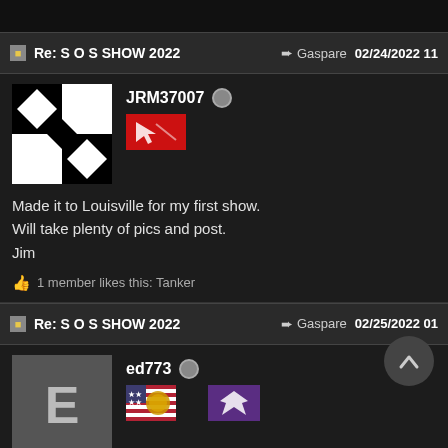Re: S O S SHOW 2022 | Gaspare | 02/24/2022 11
JRM37007
Made it to Louisville for my first show.
Will take plenty of pics and post.
Jim
1 member likes this: Tanker
Re: S O S SHOW 2022 | Gaspare | 02/25/2022 01
ed773
Jim
Enjoy!! The first one is really something to take in.